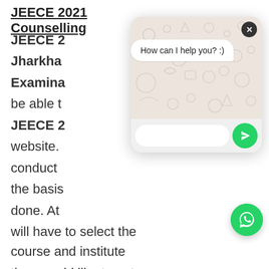JEECE 2021 Counselling
JEECE 2 Jharkhand Examina be able t JEECE 2 website. conduct the basis done. At will have to select the course and institute they would like to get admission in. The allotment will be done on the basis of the preference of the candidate and the merit list
[Figure (screenshot): WhatsApp chat popup overlay showing 'How can I help you? :)' message bubble, with a text input field, send button, and WhatsApp FAB button]